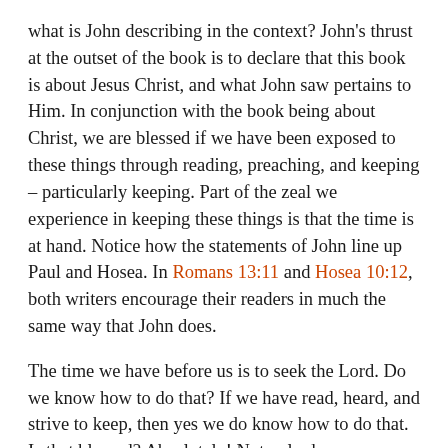what is John describing in the context?  John's thrust at the outset of the book is to declare that this book is about Jesus Christ, and what John saw pertains to Him.  In conjunction with the book being about Christ, we are blessed if we have been exposed to these things through reading, preaching, and keeping – particularly keeping.  Part of the zeal we experience in keeping these things is that the time is at hand.  Notice how the statements of John line up Paul and Hosea.  In Romans 13:11 and Hosea 10:12, both writers encourage their readers in much the same way that John does.
The time we have before us is to seek the Lord.  Do we know how to do that?  If we have read, heard, and strive to keep, then yes we do know how to do that.  Is that blessed?  Absolutely!  Not only does our conscience bear witness to these things, but we have a plethora of knowledge to corroborate what our conscience tells us between right and wrong.  Have we read or heard lately?  It is time!  Have we